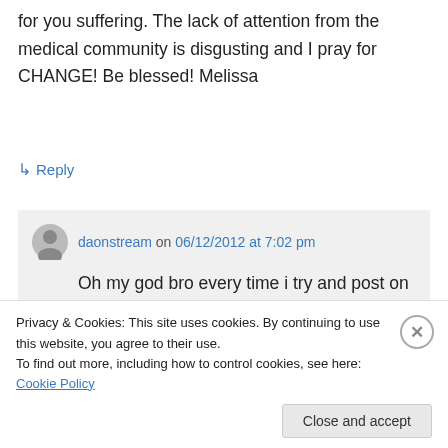for you suffering. The lack of attention from the medical community is disgusting and I pray for CHANGE! Be blessed! Melissa
↳ Reply
daonstream on 06/12/2012 at 7:02 pm
Oh my god bro every time i try and post on here im so tired and i post and then forget my password and end up wasting all my
Privacy & Cookies: This site uses cookies. By continuing to use this website, you agree to their use.
To find out more, including how to control cookies, see here: Cookie Policy
Close and accept